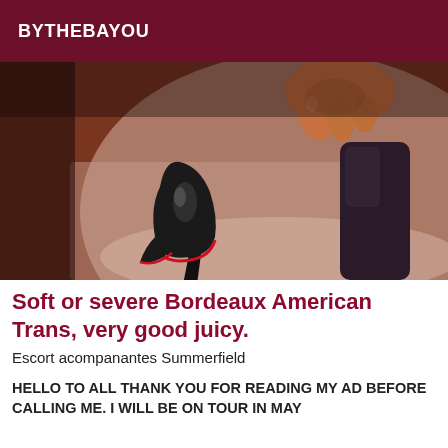BYTHEBAYOU
[Figure (photo): Close-up photo of a person's hand in reddish/orange lighting holding or touching a black high-heeled shoe with a red sole. Another dark boot/shoe is visible on the right side of the frame.]
Soft or severe Bordeaux American Trans, very good juicy.
Escort acompanantes Summerfield
HELLO TO ALL THANK YOU FOR READING MY AD BEFORE CALLING ME. I WILL BE ON TOUR IN MAY